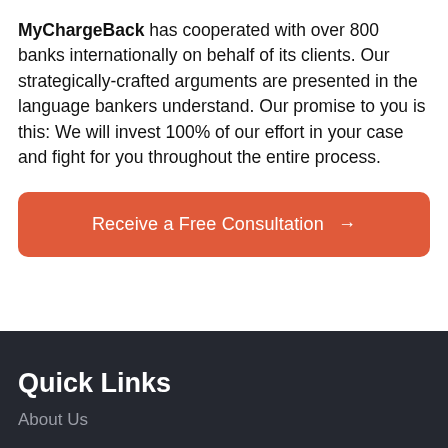MyChargeBack has cooperated with over 800 banks internationally on behalf of its clients. Our strategically-crafted arguments are presented in the language bankers understand. Our promise to you is this: We will invest 100% of our effort in your case and fight for you throughout the entire process.
Receive a Free Consultation →
Quick Links
About Us